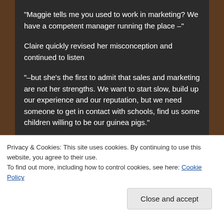"Maggie tells me you used to work in marketing? We have a competent manager running the place –"
Claire quickly revised her misconception and continued to listen
"–but she's the first to admit that sales and marketing are not her strengths. We want to start slow, build up our experience and our reputation, but we need someone to get in contact with schools, find us some children willing to be our guinea pigs."
Some of Claire's distaste for a sales role must have
Privacy & Cookies: This site uses cookies. By continuing to use this website, you agree to their use.
To find out more, including how to control cookies, see here: Cookie Policy